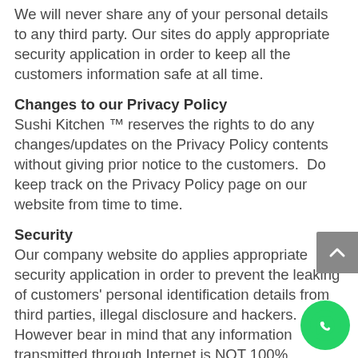We will never share any of your personal details to any third party. Our sites do apply appropriate security application in order to keep all the customers information safe at all time.
Changes to our Privacy Policy
Sushi Kitchen ™ reserves the rights to do any changes/updates on the Privacy Policy contents without giving prior notice to the customers.  Do keep track on the Privacy Policy page on our website from time to time.
Security
Our company website do applies appropriate security application in order to prevent the leaking of customers' personal identification details from third parties, illegal disclosure and hackers. However bear in mind that any information transmitted through Internet is NOT 100% guaranteed safe and secure.